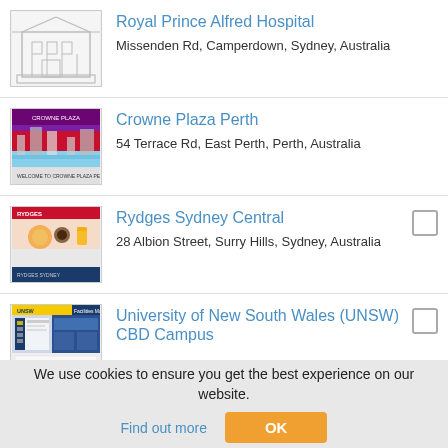Royal Prince Alfred Hospital
Missenden Rd, Camperdown, Sydney, Australia
Crowne Plaza Perth
54 Terrace Rd, East Perth, Perth, Australia
Rydges Sydney Central
28 Albion Street, Surry Hills, Sydney, Australia
University of New South Wales (UNSW) CBD Campus
We use cookies to ensure you get the best experience on our website. Find out more OK